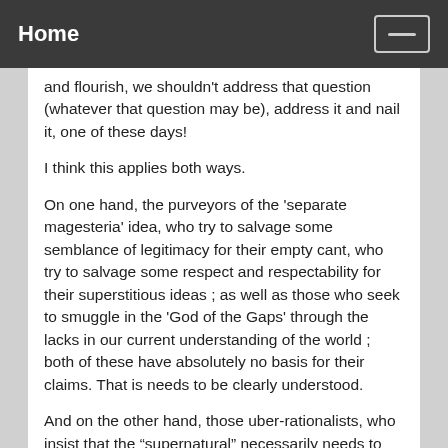Home
and flourish, we shouldn’t address that question (whatever that question may be), address it and nail it, one of these days!
I think this applies both ways.
On one hand, the purveyors of the ‘separate magesteria’ idea, who try to salvage some semblance of legitimacy for their empty cant, who try to salvage some respect and respectability for their superstitious ideas ; as well as those who seek to smuggle in the ‘God of the Gaps’ through the lacks in our current understanding of the world ; both of these have absolutely no basis for their claims. That is needs to be clearly understood.
And on the other hand, those uber-rationalists, who insist that the “supernatural” necessarily needs to stay out of the scope of science, they’re mistaken too. Any and every thing is a fair subject for us to study, given enough interest. Might meditation help us uncover some potentials of the human brain that are generally latent? Might it even lead us to some knowledge about the ‘outer’